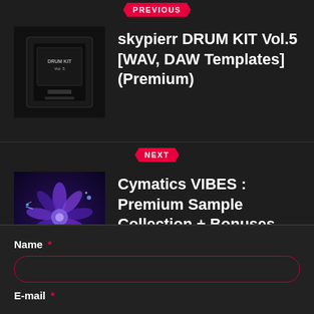PREVIOUS
skypierr DRUM KIT Vol.5 [WAV, DAW Templates] (Premium)
NEXT
Cymatics VIBES : Premium Sample Collection + Bonuses Wav Midi (Premium)
Name *
E-mail *